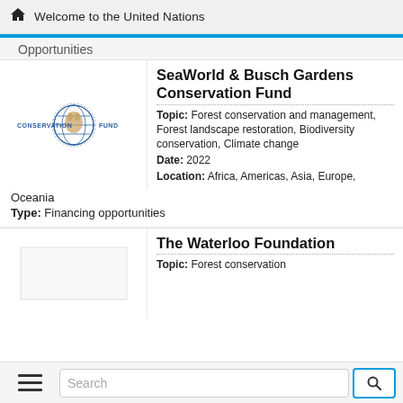Welcome to the United Nations
Opportunities
[Figure (logo): Conservation Fund logo with globe icon, text CONSERVATION FUND in blue]
SeaWorld & Busch Gardens Conservation Fund
Topic: Forest conservation and management, Forest landscape restoration, Biodiversity conservation, Climate change
Date: 2022
Location: Africa, Americas, Asia, Europe, Oceania
Type: Financing opportunities
[Figure (other): Empty logo placeholder for The Waterloo Foundation]
The Waterloo Foundation
Topic: Forest conservation